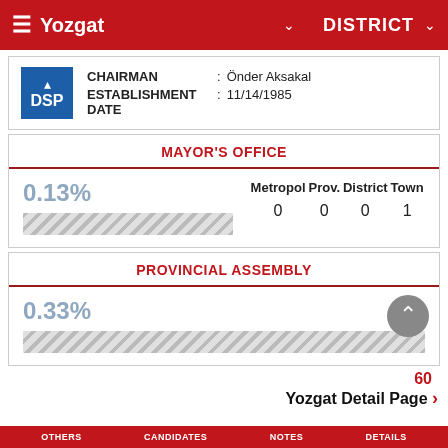Yozgat  DISTRICT
CHAIRMAN : Önder Aksakal
ESTABLISHMENT DATE : 11/14/1985
MAYOR'S OFFICE
0.13%
| Metropol | Prov. | District | Town |
| --- | --- | --- | --- |
| 0 | 0 | 0 | 1 |
PROVINCIAL ASSEMBLY
0.33%
60
Yozgat Detail Page >